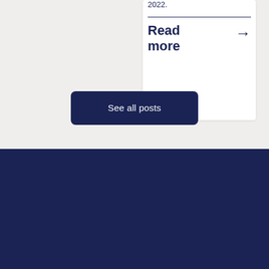2022.
Read more →
See all posts
Get our latest financial blogs and articles straight to you inbox.
Your email address
Subscribe